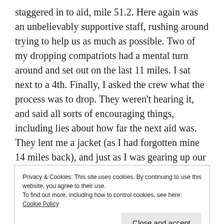staggered in to aid, mile 51.2. Here again was an unbelievably supportive staff, rushing around trying to help us as much as possible. Two of my dropping compatriots had a mental turn around and set out on the last 11 miles. I sat next to a 4th. Finally, I asked the crew what the process was to drop. They weren't hearing it, and said all sorts of encouraging things, including lies about how far the next aid was. They lent me a jacket (as I had forgotten mine 14 miles back), and just as I was gearing up our 5th came in, shouting “I’m done! I’m dropping! Enough!” I left, and the 4th not too far behind me.
Privacy & Cookies: This site uses cookies. By continuing to use this website, you agree to their use.
To find out more, including how to control cookies, see here: Cookie Policy
at the time, in the daylight my feet had dried quickly. The